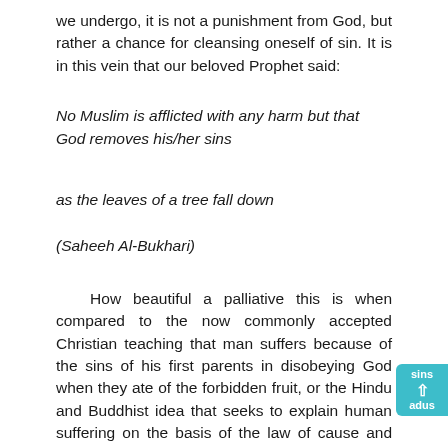we undergo, it is not a punishment from God, but rather a chance for cleansing oneself of sin. It is in this vein that our beloved Prophet said:
No Muslim is afflicted with any harm but that God removes his/her sins
as the leaves of a tree fall down
(Saheeh Al-Bukhari)
How beautiful a palliative this is when compared to the now commonly accepted Christian teaching that man suffers because of the sins of his first parents in disobeying God when they ate of the forbidden fruit, or the Hindu and Buddhist idea that seeks to explain human suffering on the basis of the law of cause and effect, where one suffers as a result of sins committed in a previous life, which only adds insult to injury to the victim, not only